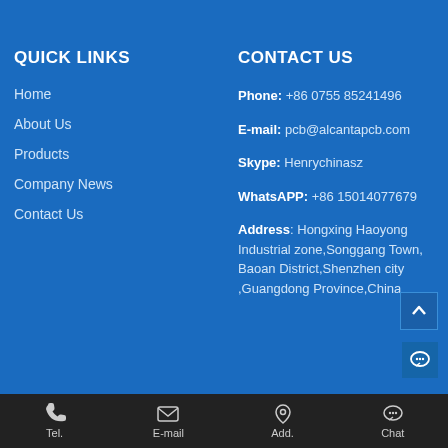QUICK LINKS
Home
About Us
Products
Company News
Contact Us
CONTACT US
Phone: +86 0755 85241496
E-mail: pcb@alcantapcb.com
Skype: Henrychinasz
WhatsAPP: +86 15014077679
Address: Hongxing Haoyong Industrial zone,Songgang Town, Baoan District,Shenzhen city ,Guangdong Province,China
Tel. | E-mail | Add. | Chat